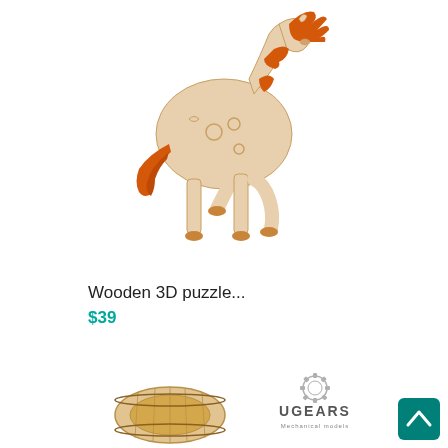[Figure (photo): 3D wooden puzzle horse model with orange/amber mane and tail, assembled mechanical model on white background]
Wooden 3D puzzle...
$39
[Figure (logo): UGEARS Mechanical models logo with gear/crown icon]
[Figure (photo): Partial view of another wooden 3D puzzle product (roller/barrel shape) at bottom left]
[Figure (other): Scroll-to-top button (teal/green square with up arrow) in bottom right corner]